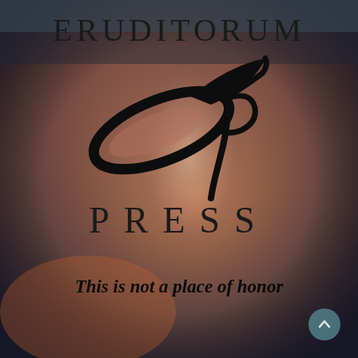[Figure (illustration): Muted reddish-brown background featuring a classical painting of a figure in flowing white garment with warm atmospheric tones, dark corners]
ERUDITORUM
[Figure (logo): Eruditorum Press stylized EP logo — a sweeping oval/pen nib shape combined with a cursive P letterform, in black ink style]
PRESS
This is not a place of honor